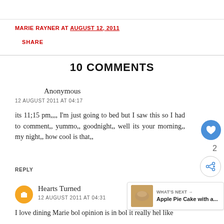MARIE RAYNER AT AUGUST 12, 2011
SHARE
10 COMMENTS
Anonymous
12 AUGUST 2011 AT 04:17
its 11;15 pm,,,, I'm just going to bed but I saw this so I had to comment,, yummo,, goodnight,, well its your morning,, my night,, how cool is that,,
REPLY
Hearts Turned
12 AUGUST 2011 AT 04:31
I love dining Marie bol opinion is in bol it really hel like